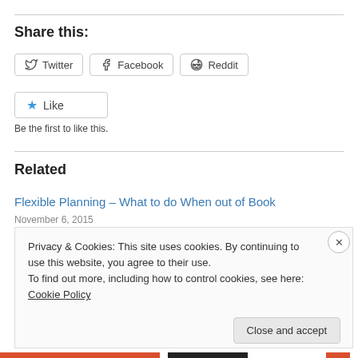Share this:
[Figure (other): Social sharing buttons: Twitter, Facebook, Reddit]
[Figure (other): Like button with star icon]
Be the first to like this.
Related
Flexible Planning – What to do When out of Book
November 6, 2015
Privacy & Cookies: This site uses cookies. By continuing to use this website, you agree to their use.
To find out more, including how to control cookies, see here: Cookie Policy
Close and accept